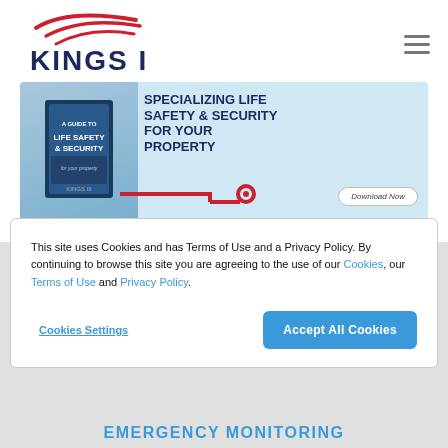[Figure (logo): Kings III logo with red swoosh graphic above bold blue KINGS III text]
[Figure (infographic): Light blue banner ad: Life Safety & Security book cover on left, bold dark blue text 'SPECIALIZING LIFE SAFETY & SECURITY FOR YOUR PROPERTY' on right, red key/pipe graphic, Download Now button]
This site uses Cookies and has Terms of Use and a Privacy Policy. By continuing to browse this site you are agreeing to the use of our Cookies, our Terms of Use and Privacy Policy.
Cookies Settings
Accept All Cookies
EMERGENCY MONITORING